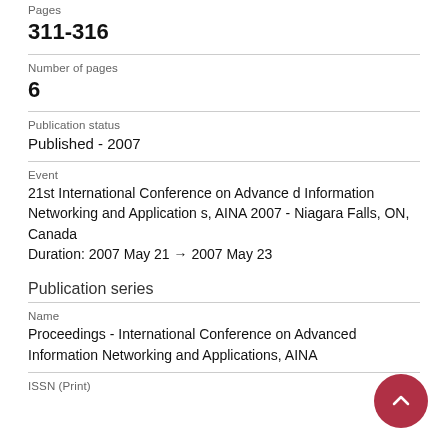Pages
311-316
Number of pages
6
Publication status
Published - 2007
Event
21st International Conference on Advanced Information Networking and Applications, AINA 2007 - Niagara Falls, ON, Canada
Duration: 2007 May 21 → 2007 May 23
Publication series
Name
Proceedings - International Conference on Advanced Information Networking and Applications, AINA
ISSN (Print)